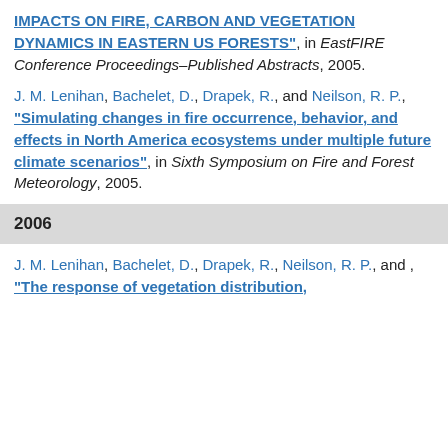IMPACTS ON FIRE, CARBON AND VEGETATION DYNAMICS IN EASTERN US FORESTS", in EastFIRE Conference Proceedings–Published Abstracts, 2005.
J. M. Lenihan, Bachelet, D., Drapek, R., and Neilson, R. P., "Simulating changes in fire occurrence, behavior, and effects in North America ecosystems under multiple future climate scenarios", in Sixth Symposium on Fire and Forest Meteorology, 2005.
2006
J. M. Lenihan, Bachelet, D., Drapek, R., Neilson, R. P., and , "The response of vegetation distribution,